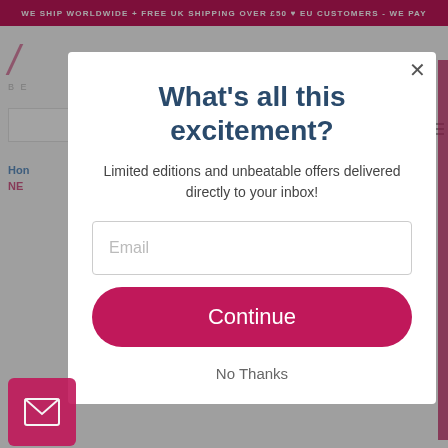WE SHIP WORLDWIDE + FREE UK SHIPPING OVER £50 ♥ EU CUSTOMERS - WE PAY
What's all this excitement?
Limited editions and unbeatable offers delivered directly to your inbox!
Email
Continue
No Thanks